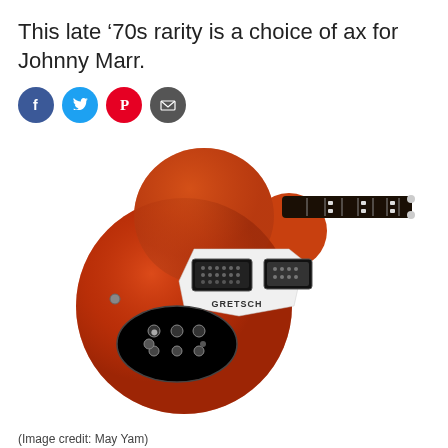This late ‘70s rarity is a choice of ax for Johnny Marr.
[Figure (other): Social media sharing icons: Facebook (blue circle), Twitter (light blue circle), Pinterest (red circle), Email (dark grey circle)]
[Figure (photo): A red/orange Gretsch electric guitar from the late 1970s, photographed on a white background. The guitar has two humbucker pickups, a white pickguard with Gretsch branding, a black oval control plate, and a dark fretboard with block inlays.]
(Image credit: May Yam)